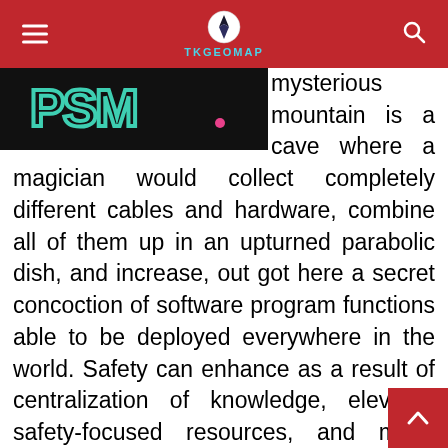TKGEOMAP
[Figure (screenshot): Dark banner image showing a logo (stylized letters resembling 'PSM' in green/teal) on a black background with a small pink/magenta dot]
mysterious mountain is a cave where a magician would collect completely different cables and hardware, combine all of them up in an upturned parabolic dish, and increase, out got here a secret concoction of software program functions able to be deployed everywhere in the world. Safety can enhance as a result of centralization of knowledge, elevated safety-focused resources, and many others., but considerations can persist about loss of control over certain delicate data, and the shortage of safety for saved kernels Security is commonly nearly as good as or better than other conventional techniques, partly as a result of service suppliers